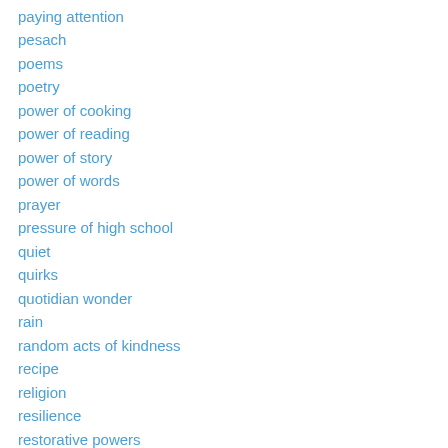paying attention
pesach
poems
poetry
power of cooking
power of reading
power of story
power of words
prayer
pressure of high school
quiet
quirks
quotidian wonder
rain
random acts of kindness
recipe
religion
resilience
restorative powers
rites and ritual